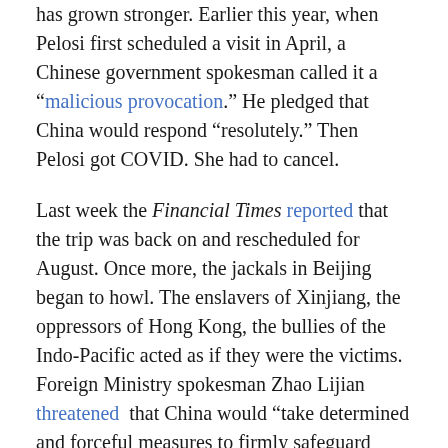has grown stronger. Earlier this year, when Pelosi first scheduled a visit in April, a Chinese government spokesman called it a “malicious provocation.” He pledged that China would respond “resolutely.” Then Pelosi got COVID. She had to cancel.
Last week the Financial Times reported that the trip was back on and rescheduled for August. Once more, the jackals in Beijing began to howl. The enslavers of Xinjiang, the oppressors of Hong Kong, the bullies of the Indo-Pacific acted as if they were the victims. Foreign Ministry spokesman Zhao Lijian threatened that China would “take determined and forceful measures to firmly safeguard national sovereignty and territorial integrity.” The Chinese propaganda machine spoke forebodingly of consequences for the United States. A former editor of Global Times, the Chinese Communist Party’s version